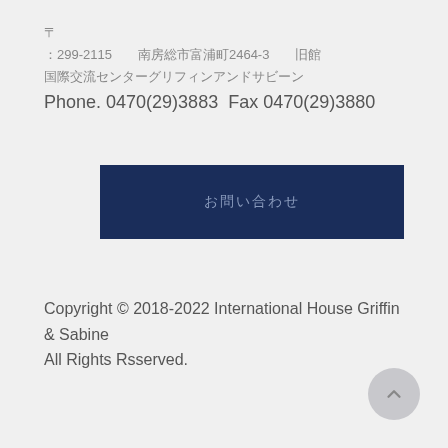〒299-2115　南房総市富浦町2464-3　旧館
国際交流センターグリフィンアンドサビーン
Phone. 0470(29)3883  Fax 0470(29)3880
[Figure (other): Dark navy blue button with Japanese text]
Copyright © 2018-2022 International House Griffin & Sabine All Rights Rsserved.